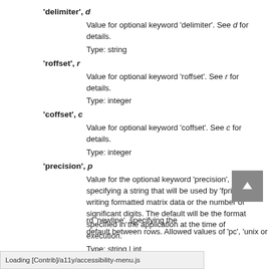'delimiter', d
Value for optional keyword 'delimiter'. See d for details.
Type: string
'roffset', r
Value for optional keyword 'roffset'. See r for details.
Type: integer
'coffset', c
Value for optional keyword 'coffset'. See c for details.
Type: integer
'precision', p
Value for the optional keyword 'precision', specifying a string that will be used by 'fprintf' for writing formatted matrix data or the number of significant digits. The default will be the format specified in the application at the time of execution.
Type: string | int
'newline', n
rd 'newline', specifying the
default between rows. Allowed values of 'pc', 'unix or
Loading [Contrib]/a11y/accessibility-menu.js